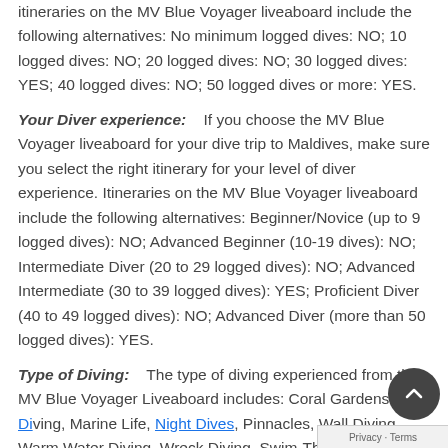itineraries on the MV Blue Voyager liveaboard include the following alternatives: No minimum logged dives: NO; 10 logged dives: NO; 20 logged dives: NO; 30 logged dives: YES; 40 logged dives: NO; 50 logged dives or more: YES.
Your Diver experience: If you choose the MV Blue Voyager liveaboard for your dive trip to Maldives, make sure you select the right itinerary for your level of diver experience. Itineraries on the MV Blue Voyager liveaboard include the following alternatives: Beginner/Novice (up to 9 logged dives): NO; Advanced Beginner (10-19 dives): NO; Intermediate Diver (20 to 29 logged dives): NO; Advanced Intermediate (30 to 39 logged dives): YES; Proficient Diver (40 to 49 logged dives): NO; Advanced Diver (more than 50 logged dives): YES.
Type of Diving: The type of diving experienced from the MV Blue Voyager Liveaboard includes: Coral Gardens, Drift Diving, Marine Life, Night Dives, Pinnacles, Wall Diving, Warm Water Diving, Wreck Diving, Swim-Through's and Caverns.